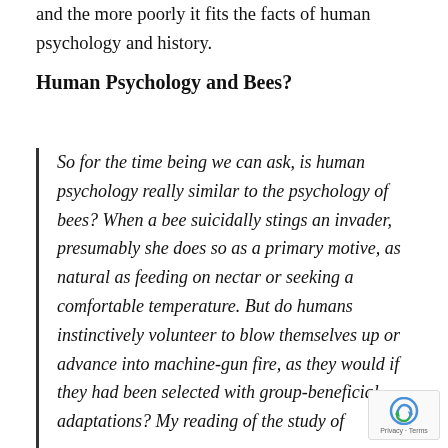and the more poorly it fits the facts of human psychology and history.
Human Psychology and Bees?
So for the time being we can ask, is human psychology really similar to the psychology of bees? When a bee suicidally stings an invader, presumably she does so as a primary motive, as natural as feeding on nectar or seeking a comfortable temperature. But do humans instinctively volunteer to blow themselves up or advance into machine-gun fire, as they would if they had been selected with group-beneficial adaptations? My reading of the study of